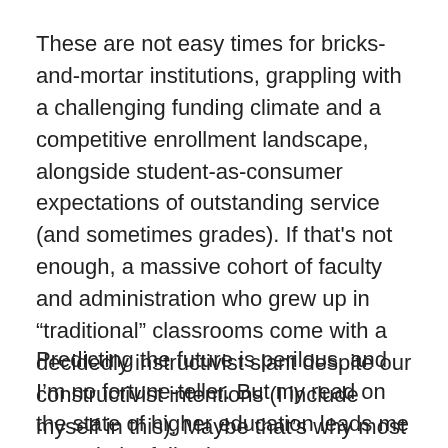These are not easy times for bricks-and-mortar institutions, grappling with a challenging funding climate and a competitive enrollment landscape, alongside student-as-consumer expectations of outstanding service (and sometimes grades). If that's not enough, a massive cohort of faculty and administration who grew up in “traditional” classrooms come with a decidedly instructivist slant despite our constructivist intentions (I include myself in this). Maybe that’s why most classrooms are still oriented to a podium at the front, even in new builds. What happens when the hyper-connected, online-all-the-time iGen takes over?
Predicting the future is perilous, and I’m no fortune-teller. But my read on the state of higher education leads me to posit the following, “VUCA”-informed, present-vs-future,